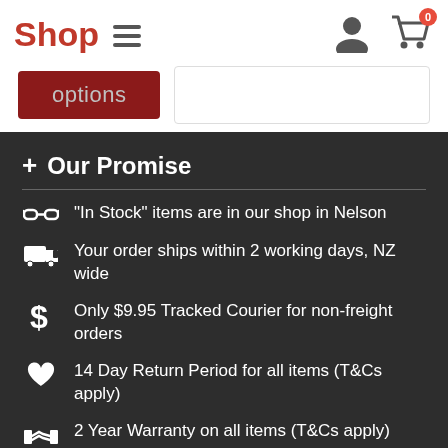Shop
[Figure (screenshot): Shop website header with logo, hamburger menu, user icon, and shopping cart icon with badge showing 0]
[Figure (screenshot): Partial product page with dark red 'options' button and an empty white box]
+ Our Promise
"In Stock" items are in our shop in Nelson
Your order ships within 2 working days, NZ wide
Only $9.95 Tracked Courier for non-freight orders
14 Day Return Period for all items (T&Cs apply)
2 Year Warranty on all items (T&Cs apply)